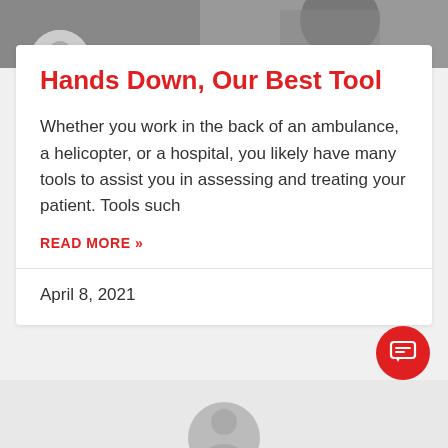[Figure (photo): Grayscale image at top of page, partially cropped]
[Figure (photo): Gray circular avatar/profile icon]
Hands Down, Our Best Tool
Whether you work in the back of an ambulance, a helicopter, or a hospital, you likely have many tools to assist you in assessing and treating your patient. Tools such
READ MORE »
April 8, 2021
[Figure (illustration): Chat/message button (red circle with chat icon) in bottom right]
[Figure (photo): Bottom section with gray avatar circle partially visible]